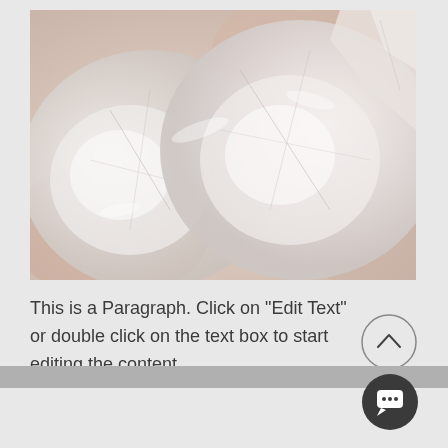[Figure (photo): Close-up photo of translucent pale pink/white ice or crystal/mineral pieces overlapping, with frosted and smooth surfaces, soft warm tones]
This is a Paragraph. Click on "Edit Text" or double click on the text box to start editing the content.
[Figure (other): Circular up-arrow button with thin border outline]
[Figure (other): Dark circular chat/message button with speech bubble icon]